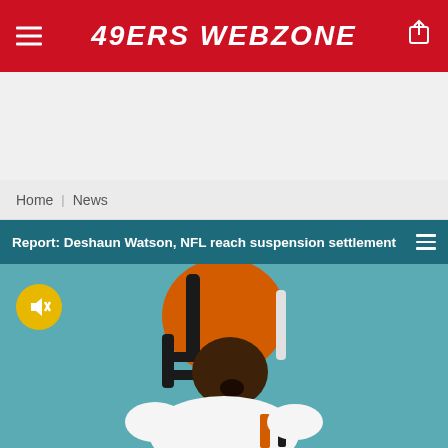49ERS WEBZONE
[Figure (other): Advertisement placeholder area]
Home  News
Report: Deshaun Watson, NFL reach suspension settlement
[Figure (photo): Deshaun Watson in Cleveland Browns uniform and orange helmet, mouth open, on a teal/aqua background field]